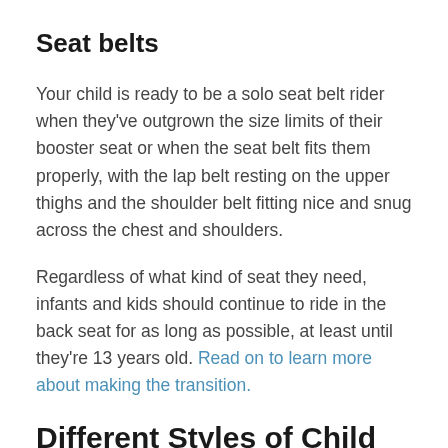Seat belts
Your child is ready to be a solo seat belt rider when they've outgrown the size limits of their booster seat or when the seat belt fits them properly, with the lap belt resting on the upper thighs and the shoulder belt fitting nice and snug across the chest and shoulders.
Regardless of what kind of seat they need, infants and kids should continue to ride in the back seat for as long as possible, at least until they're 13 years old. Read on to learn more about making the transition.
Different Styles of Child